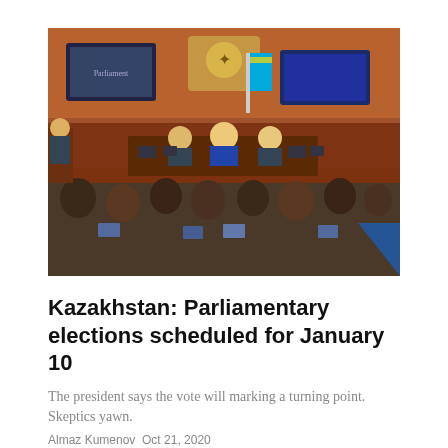[Figure (photo): Kazakhstan parliament chamber with officials seated at a large desk, screens visible, audience in foreground with laptops]
Kazakhstan: Parliamentary elections scheduled for January 10
The president says the vote will marking a turning point. Skeptics yawn.
Almaz Kumenov Oct 21, 2020
[Figure (photo): Group of women, some with hands raised, gathered in what appears to be a public meeting or protest setting]